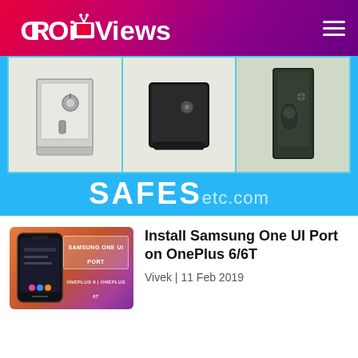DroidViews
[Figure (photo): Advertisement banner for SAFESetc.com showing three safes (white floor safe, black safe, tall dark gun safe) on a light blue background with 'SAFES etc.com' text]
[Figure (photo): Thumbnail image for article about Samsung One UI Port on OnePlus 6/6T showing a smartphone with gradient orange-purple background and text overlay 'SAMSUNG ONE UI PORT' and 'ONEPLUS 6 | ONEPLUS 6T']
Install Samsung One UI Port on OnePlus 6/6T
Vivek | 11 Feb 2019